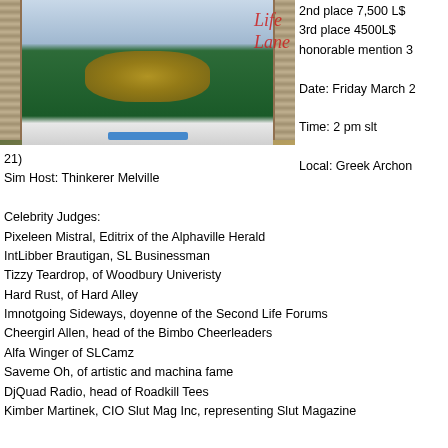[Figure (screenshot): Screenshot of a virtual world (Second Life) showing an avatar in a green t-shirt with decorative design, standing between two classical columns. Script/cursive text visible on right side of image. A blue bar at the bottom of the image frame.]
2nd place  7,500 L$
3rd place  4500L$
honorable mention 3

Date: Friday March 2

Time:  2 pm slt

Local: Greek Archon
21)
Sim Host: Thinkerer Melville

Celebrity Judges:
Pixeleen Mistral, Editrix of the Alphaville Herald
IntLibber Brautigan, SL Businessman
Tizzy Teardrop, of Woodbury Univeristy
Hard Rust, of Hard Alley
Imnotgoing Sideways, doyenne of the Second Life Forums
Cheergirl Allen, head of the Bimbo Cheerleaders
Alfa Winger of SLCamz
Saveme Oh, of artistic and machina fame
DjQuad Radio, head of Roadkill Tees
Kimber Martinek, CIO Slut Mag Inc, representing Slut Magazine